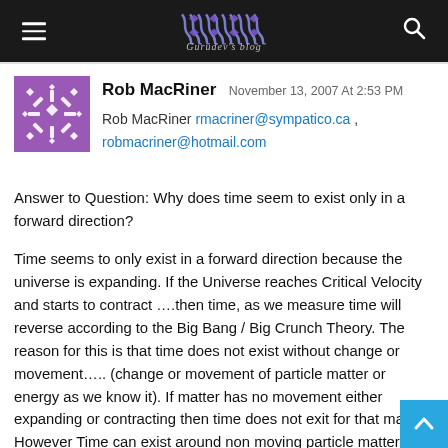Gurudev's blog
Rob MacRiner  November 13, 2007 At 2:53 PM
Rob MacRiner rmacriner@sympatico.ca , robmacriner@hotmail.com
Answer to Question: Why does time seem to exist only in a forward direction?
Time seems to only exist in a forward direction because the universe is expanding. If the Universe reaches Critical Velocity and starts to contract ….then time, as we measure time will reverse according to the Big Bang / Big Crunch Theory. The reason for this is that time does not exist without change or movement….. (change or movement of particle matter or energy as we know it). If matter has no movement either expanding or contracting then time does not exit for that matter. However Time can exist around non moving particle matter if something is either expanding or contracting around it.